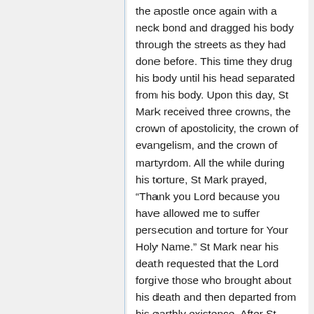the apostle once again with a neck bond and dragged his body through the streets as they had done before. This time they drug his body until his head separated from his body. Upon this day, St Mark received three crowns, the crown of apostolicity, the crown of evangelism, and the crown of martyrdom. All the while during his torture, St Mark prayed, “Thank you Lord because you have allowed me to suffer persecution and torture for Your Holy Name.” St Mark near his death requested that the Lord forgive those who brought about his death and then departed from his earthly existence. After St Mark’s martyrdom, the idolaters hurriedly brought firewood to burn his body. A great wind suddenly blew, a great rain suddenly fell and the idolaters